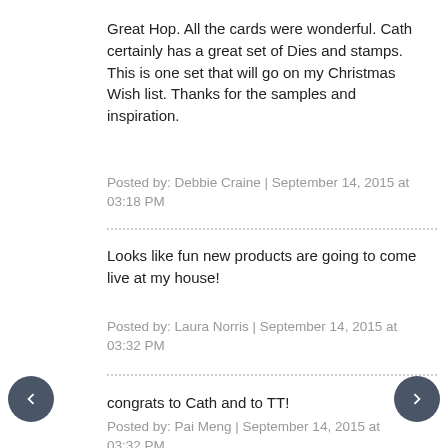Great Hop. All the cards were wonderful. Cath certainly has a great set of Dies and stamps. This is one set that will go on my Christmas Wish list. Thanks for the samples and inspiration.
Posted by: Debbie Craine | September 14, 2015 at 03:18 PM
Looks like fun new products are going to come live at my house!
Posted by: Laura Norris | September 14, 2015 at 03:32 PM
congrats to Cath and to TT!
Posted by: Pai Meng | September 14, 2015 at 03:32 PM